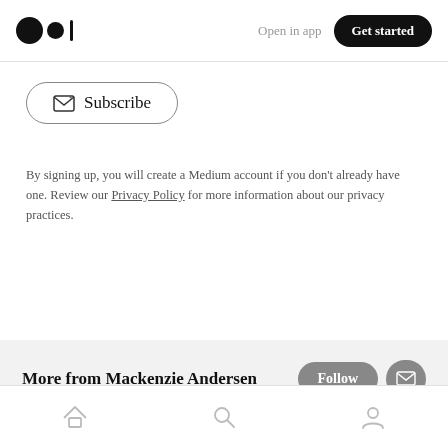Open in app  Get started
[Figure (illustration): Subscribe button with envelope icon and text 'Subscribe', styled with rounded border]
By signing up, you will create a Medium account if you don't already have one. Review our Privacy Policy for more information about our privacy practices.
More from Mackenzie Andersen
Its a long story . What is most important is first in in about section on www.andersendesign.biz
Home  Search  Profile